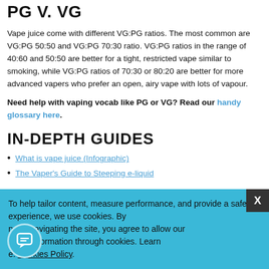PG V. VG
Vape juice come with different VG:PG ratios. The most common are VG:PG 50:50 and VG:PG 70:30 ratio. VG:PG ratios in the range of 40:60 and 50:50 are better for a tight, restricted vape similar to smoking, while VG:PG ratios of 70:30 or 80:20 are better for more advanced vapers who prefer an open, airy vape with lots of vapour.
Need help with vaping vocab like PG or VG? Read our handy glossary here.
IN-DEPTH GUIDES
What is vape juice (Infographic)
The Vaper's Guide to Steeping e-liquid
To help tailor content, measure performance, and provide a safer experience, we use cookies. By clicking or navigating the site, you agree to allow our collection of information through cookies. Learn more: Cookies Policy.